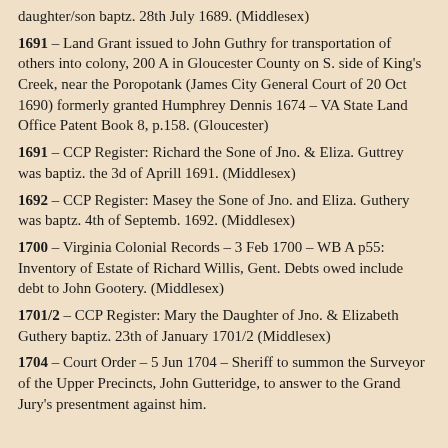… – daughter/son baptz. 28th July 1689. (Middlesex)
1691 – Land Grant issued to John Guthry for transportation of others into colony, 200 A in Gloucester County on S. side of King's Creek, near the Poropotank (James City General Court of 20 Oct 1690) formerly granted Humphrey Dennis 1674 – VA State Land Office Patent Book 8, p.158. (Gloucester)
1691 – CCP Register: Richard the Sone of Jno. & Eliza. Guttrey was baptiz. the 3d of Aprill 1691. (Middlesex)
1692 – CCP Register: Masey the Sone of Jno. and Eliza. Guthery was baptz. 4th of Septemb. 1692. (Middlesex)
1700 – Virginia Colonial Records – 3 Feb 1700 – WB A p55: Inventory of Estate of Richard Willis, Gent. Debts owed include debt to John Gootery. (Middlesex)
1701/2 – CCP Register: Mary the Daughter of Jno. & Elizabeth Guthery baptiz. 23th of January 1701/2 (Middlesex)
1704 – Court Order – 5 Jun 1704 – Sheriff to summon the Surveyor of the Upper Precincts, John Gutteridge, to answer to the Grand Jury's presentment against him.